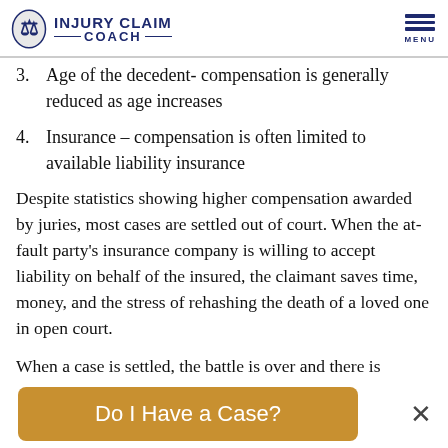INJURY CLAIM COACH
3. Age of the decedent- compensation is generally reduced as age increases
4. Insurance – compensation is often limited to available liability insurance
Despite statistics showing higher compensation awarded by juries, most cases are settled out of court. When the at-fault party's insurance company is willing to accept liability on behalf of the insured, the claimant saves time, money, and the stress of rehashing the death of a loved one in open court.
When a case is settled, the battle is over and there is no appeal. Most insurance companies insist the
Do I Have a Case?